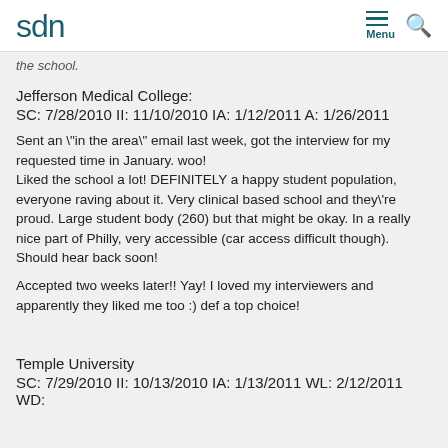sdn
the school.
Jefferson Medical College:
SC: 7/28/2010 II: 11/10/2010 IA: 1/12/2011 A: 1/26/2011
Sent an "in the area" email last week, got the interview for my requested time in January. woo!
Liked the school a lot! DEFINITELY a happy student population, everyone raving about it. Very clinical based school and they're proud. Large student body (260) but that might be okay. In a really nice part of Philly, very accessible (car access difficult though). Should hear back soon!
Accepted two weeks later!! Yay! I loved my interviewers and apparently they liked me too :) def a top choice!
Temple University
SC: 7/29/2010 II: 10/13/2010 IA: 1/13/2011 WL: 2/12/2011 WD: